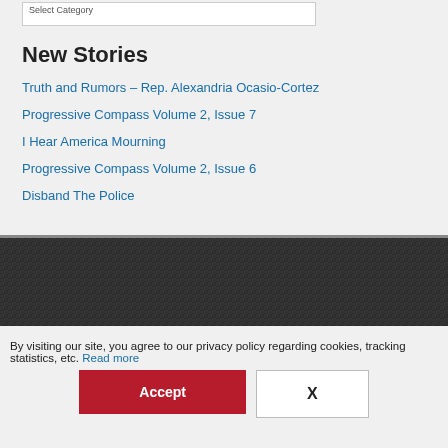Select Category
New Stories
Truth and Rumors – Rep. Alexandria Ocasio-Cortez
Progressive Compass Volume 2, Issue 7
I Hear America Mourning
Progressive Compass Volume 2, Issue 6
Disband The Police
By visiting our site, you agree to our privacy policy regarding cookies, tracking statistics, etc. Read more
Accept
X